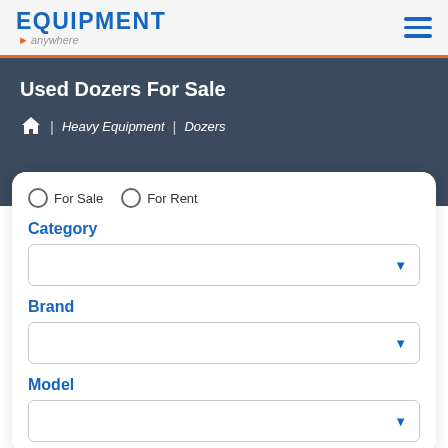EQUIPMENT anywhere
Used Dozers For Sale
Home | Heavy Equipment | Dozers
For Sale  For Rent
Category
Brand
Model